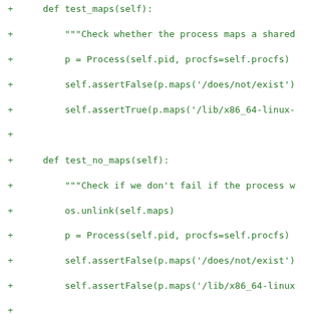[Figure (other): A code diff showing Python test methods for process map testing, all lines prefixed with '+' in green monospace font on white background.]